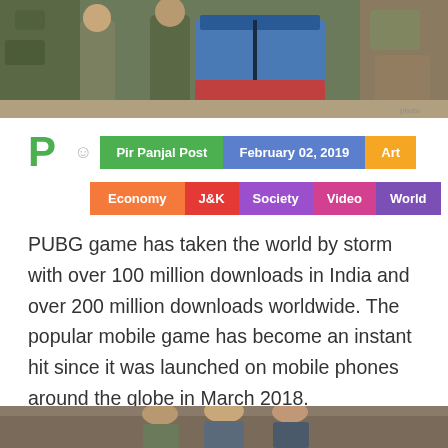[Figure (photo): Photo of people standing near colorful bags/boxes with camouflage and blue coverings in an indoor setting]
Pir Panjal Post  February 02, 2019  Art  Economy  J&K  Society  Video  World
PUBG game has taken the world by storm with over 100 million downloads in India and over 200 million downloads worldwide. The popular mobile game has become an instant hit since it was launched on mobile phones around the globe in March 2018.
[Figure (photo): Partial view of another photo at the bottom of the page]